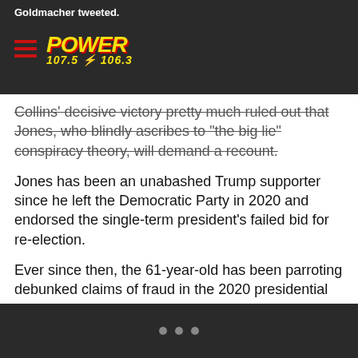Goldmacher tweeted.
[Figure (logo): Power 107.5 106.3 radio station logo with yellow text and lightning bolt on dark background]
Collins' decisive victory pretty much ruled out that Jones, who blindly ascribes to “the big lie” conspiracy theory, will demand a recount.
Jones has been an unabashed Trump supporter since he left the Democratic Party in 2020 and endorsed the single-term president’s failed bid for re-election.
Ever since then, the 61-year-old has been parroting debunked claims of fraud in the 2020 presidential election and been on an unsuccessful campaign to discredit Joe Biden.
Jones’ pro-Trump schtick has been punctuated by a similarly steady stream of anti-Black commentary, including recently
• • •